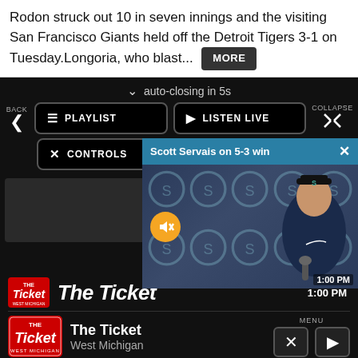Rodon struck out 10 in seven innings and the visiting San Francisco Giants held off the Detroit Tigers 3-1 on Tuesday.Longoria, who blast... MORE
[Figure (screenshot): Dark-themed audio player UI with auto-closing banner showing 'auto-closing in 5s', PLAYLIST and LISTEN LIVE buttons, CONTROLS button, back/collapse navigation, and a video overlay popup showing 'Scott Servais on 5-3 win' with a person being interviewed in front of a Mariners backdrop, with a muted/unmuted icon button. Bottom shows 'The Ticket' radio station branding with West Michigan label, time display '1:00 PM', and MENU controls with X and play buttons.]